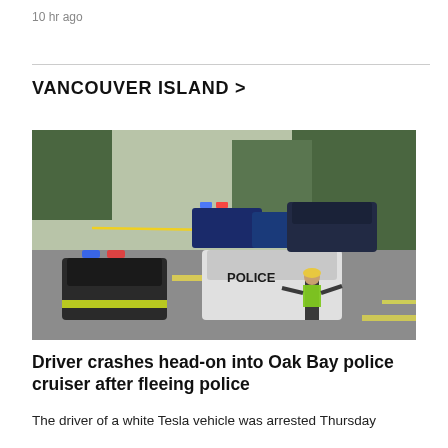10 hr ago
VANCOUVER ISLAND >
[Figure (photo): Police scene on a road with multiple police cruisers, yellow caution tape, and an officer in a high-visibility vest directing traffic on a sunny day.]
Driver crashes head-on into Oak Bay police cruiser after fleeing police
The driver of a white Tesla vehicle was arrested Thursday